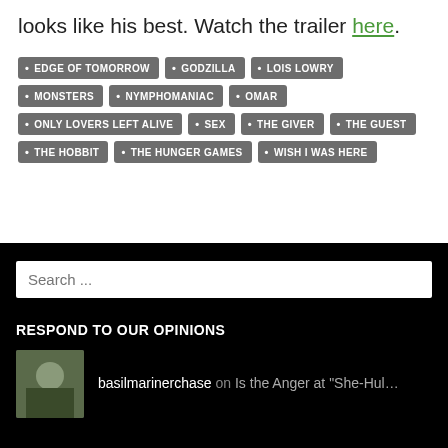looks like his best. Watch the trailer here.
EDGE OF TOMORROW
GODZILLA
LOIS LOWRY
MONSTERS
NYMPHOMANIAC
OMAR
ONLY LOVERS LEFT ALIVE
SEX
THE GIVER
THE GUEST
THE HOBBIT
THE HUNGER GAMES
WISH I WAS HERE
Search ...
RESPOND TO OUR OPINIONS
basilmarinerchase on Is the Anger at "She-Hul...